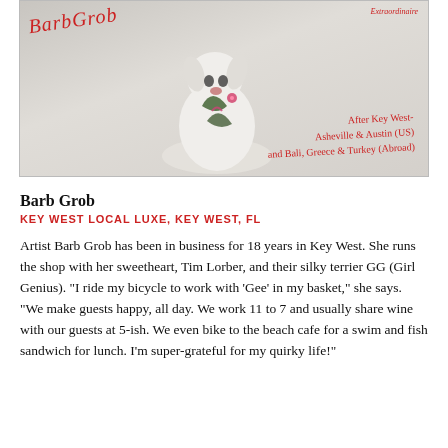[Figure (photo): A decorative ceramic figurine of a dog on a light gray background, with red cursive signatures and handwritten text overlaid. Top-left shows 'Barb Grob' in red cursive script. Top-right has a small text. Bottom-right has red cursive handwriting noting 'After Key West - Asheville & Austin (US) and Bali, Greece & Turkey (Abroad)'.]
Barb Grob
KEY WEST LOCAL LUXE, KEY WEST, FL
Artist Barb Grob has been in business for 18 years in Key West. She runs the shop with her sweetheart, Tim Lorber, and their silky terrier GG (Girl Genius). "I ride my bicycle to work with 'Gee' in my basket," she says. "We make guests happy, all day. We work 11 to 7 and usually share wine with our guests at 5-ish. We even bike to the beach cafe for a swim and fish sandwich for lunch. I'm super-grateful for my quirky life!"